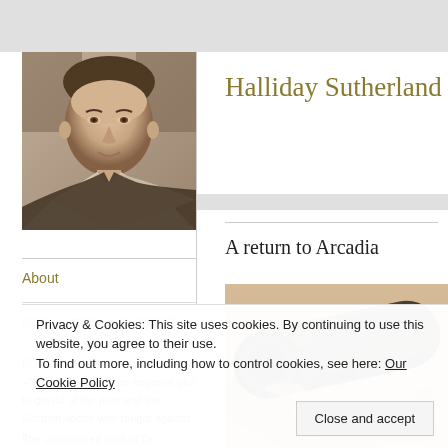[Figure (photo): Black and white portrait photograph of a young man (Halliday Sutherland) in formal attire]
Halliday Sutherland
About
Birth Control – Hewart Edition
Book: Exterminating Poverty – The true story of the eugenist plot to get rid of the poor and the Scottish doctor who fought against it.
The uncensored draft of Dr.
A return to Arcadia
[Figure (photo): Close-up photograph of what appears to be a black pipe or tube on a sandy/earthy surface]
Privacy & Cookies: This site uses cookies. By continuing to use this website, you agree to their use.
To find out more, including how to control cookies, see here: Our Cookie Policy
Close and accept